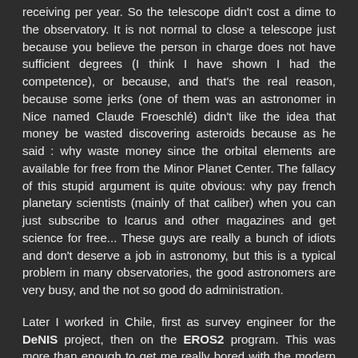receiving per year. So the telescope didn't cost a dime to the observatory. It is not normal to close a telescope just because you believe the person in charge does not have sufficient degrees (I think I have shown I had the competence), or because, and that's the real reason, because some jerks (one of them was an astronomer in Nice named Claude Froeschlé) didn't like the idea that money be wasted discovering asteroids because as he said : why waste money since the orbital elements are available for free from the Minor Planet Center. The fallacy of this stupid argument is quite obvious: why pay french planetary scientists (mainly of that caliber) when you can just subscribe to Icarus and other magazines and get science for free... These guys are really a bunch of idiots and don't deserve a job in astronomy, but this is a typical problem in many observatories, the good astronomers are very busy, and the not so good do administration.
Later I worked in Chile, first as survey engineer for the DeNIS project, then on the EROS2 program. This was more than enough to get me really bored with the modern astronomical era of industrial ESO like astronomy, also called "heavy science". It was heavily boring, with me counting the observing nights left to do before going back to normal life. The only thing interesting (apart from the salary, and the blocked observing periods, with a lot of